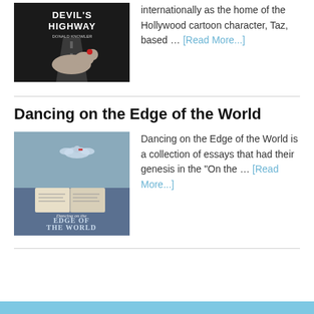[Figure (photo): Book cover of Devil's Highway by Donald Knowler, showing a dog on a road]
internationally as the home of the Hollywood cartoon character, Taz, based … [Read More...]
[Figure (photo): Book cover of Dancing on the Edge of the World, showing a bird and open books]
Dancing on the Edge of the World
Dancing on the Edge of the World is a collection of essays that had their genesis in the "On the ... [Read More...]